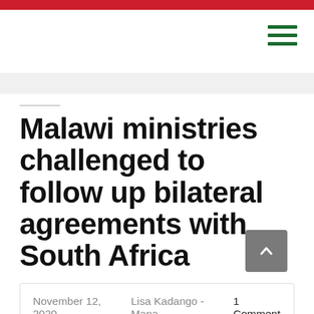Malawi ministries challenged to follow up bilateral agreements with South Africa
November 12, 2020   Lisa Kadango -Mana  1 Comment
Principal Secretary in the Ministry of Foreign Affairs and International Cooperation, Amos Sibande, on well...